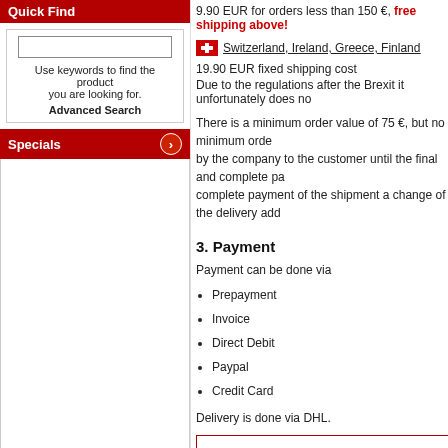Quick Find
Use keywords to find the product you are looking for. Advanced Search
Specials
Information
FAQ
Shipping & Returns
Wineimport
Privacy Notice
Conditions of Use
youth protection
Contact Us
9.90 EUR for orders less than 150 €, free shipping above!
Switzerland, Ireland, Greece, Finland
19.90 EUR fixed shipping cost
Due to the regulations after the Brexit it unfortunately does no
There is a minimum order value of 75 €, but no minimum orde by the company to the customer until the final and complete pa complete payment of the shipment a change of the delivery add
3. Payment
Payment can be done via
Prepayment
Invoice
Direct Debit
Paypal
Credit Card
Delivery is done via DHL.